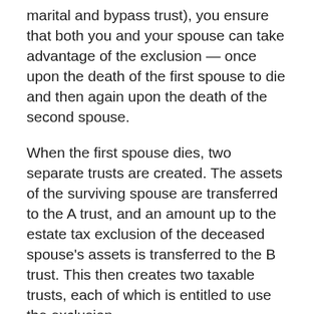marital and bypass trust), you ensure that both you and your spouse can take advantage of the exclusion — once upon the death of the first spouse to die and then again upon the death of the second spouse.
When the first spouse dies, two separate trusts are created. The assets of the surviving spouse are transferred to the A trust, and an amount up to the estate tax exclusion of the deceased spouse's assets is transferred to the B trust. This then creates two taxable trusts, each of which is entitled to use the exclusion.
The B trust is subject to estate taxes. However, because of the applicable exclusion, no taxes will be owed. The surviving spouse maintains control of the assets in the A trust and receives income from the B trust. Then, upon the death of the second spouse, only the A trust is subject to federal estate taxes because the B trust was taxed at the first